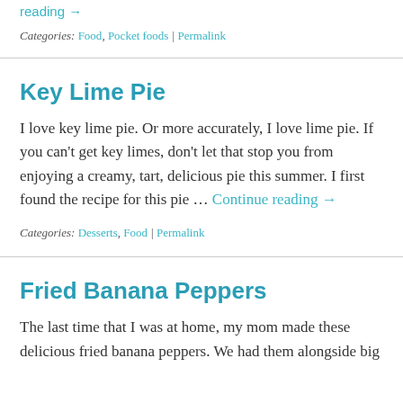reading →
Categories: Food, Pocket foods | Permalink
Key Lime Pie
I love key lime pie. Or more accurately, I love lime pie. If you can't get key limes, don't let that stop you from enjoying a creamy, tart, delicious pie this summer. I first found the recipe for this pie … Continue reading →
Categories: Desserts, Food | Permalink
Fried Banana Peppers
The last time that I was at home, my mom made these delicious fried banana peppers. We had them alongside big…